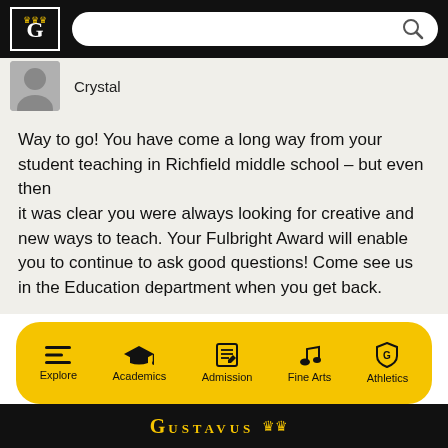[Figure (logo): Gustavus Adolphus College G logo with crown in black and white box, with search bar on black navigation bar]
Crystal
Way to go! You have come a long way from your student teaching in Richfield middle school – but even then it was clear you were always looking for creative and new ways to teach. Your Fulbright Award will enable you to continue to ask good questions! Come see us in the Education department when you get back.
[Figure (infographic): Yellow rounded navigation bar with icons: Explore (hamburger menu), Academics (graduation cap), Admission (document), Fine Arts (music note), Athletics (shield)]
Gustavus